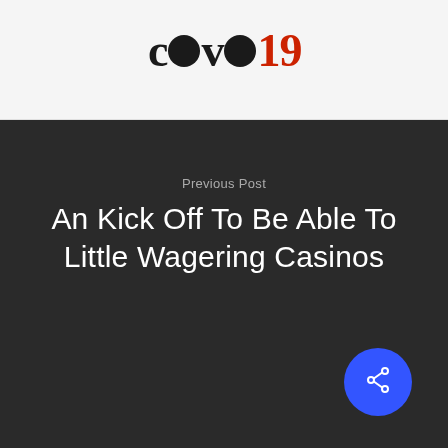covo19
Previous Post
An Kick Off To Be Able To Little Wagering Casinos
[Figure (illustration): Blue circular share button with share/network icon in white, positioned bottom-right of the dark section]